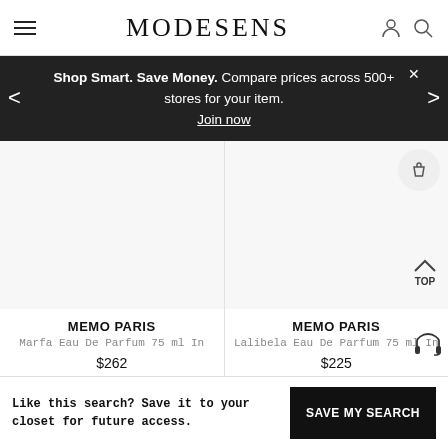MODESENS
Shop Smart. Save Money. Compare prices across 500+ stores for your item. Join now
[Figure (photo): Product image placeholder for Memo Paris Marfa Eau De Parfum 75 ml]
MEMO PARIS
Marfa Eau De Parfum 75 ml In
$262
[Figure (photo): Product image placeholder for Memo Paris Lalibela Eau De Parfum 75 ml]
MEMO PARIS
Lalibela Eau De Parfum 75 ml In
$225
Like this search? Save it to your closet for future access.